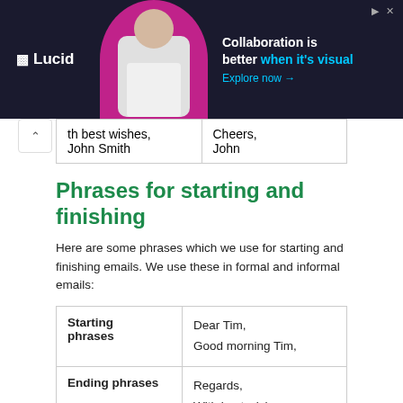[Figure (other): Lucid advertisement banner with dark background, person image, and text: Collaboration is better when it's visual. Explore now →]
| th best wishes,
John Smith | Cheers,
John |
Phrases for starting and finishing
Here are some phrases which we use for starting and finishing emails. We use these in formal and informal emails:
| Starting phrases | Dear Tim,
Good morning Tim, |
| Ending phrases | Regards,
With best wishes,
With many thanks and best |